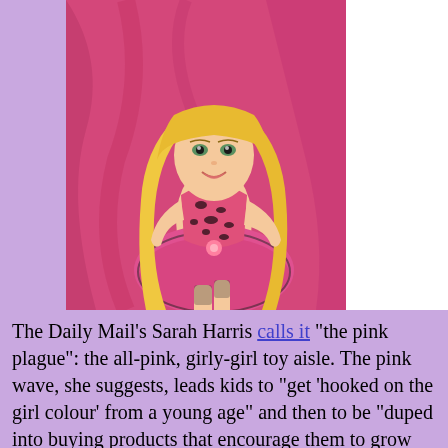[Figure (photo): A Barbie doll wearing a pink and black leopard-print strapless dress with a pink tulle skirt, seated against a pink fabric background. The doll has long blonde hair.]
The Daily Mail's Sarah Harris calls it "the pink plague": the all-pink, girly-girl toy aisle. The pink wave, she suggests, leads kids to "get 'hooked on the girl colour' from a young age" and then to be "duped into buying products that encourage them to grow up too quickly, such as lip-glosses